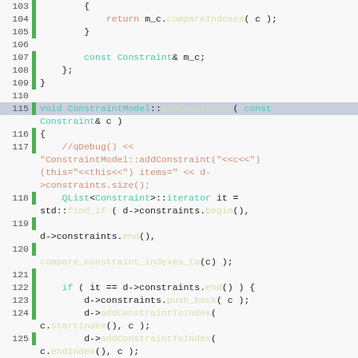[Figure (screenshot): C++ source code editor view showing lines 103-129 of a ConstraintModel implementation. Lines show function bodies with syntax highlighting: teal for keywords, orange/red for strings and comments, yellow for function names, light blue for variable names. Line 115 is highlighted in blue-gray. Green gutters appear on most lines.]